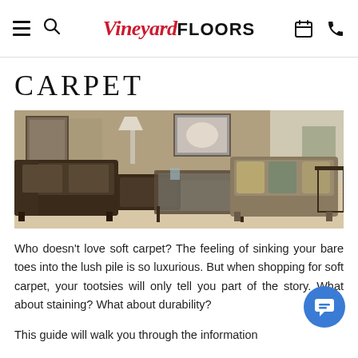Vineyard FLOORS — navigation header with hamburger menu, search icon, logo, calendar icon, phone icon
CARPET
[Figure (photo): Living room interior with beige/cream carpet, dark brown sectional sofa and armchair, glass coffee table, side table, framed artwork on walls, lamp, and curtains in background.]
Who doesn't love soft carpet? The feeling of sinking your bare toes into the lush pile is so luxurious. But when shopping for soft carpet, your tootsies will only tell you part of the story. What about staining? What about durability?
This guide will walk you through the information